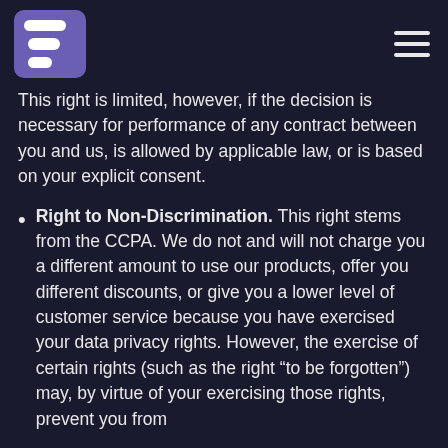[Logo and navigation menu]
This right is limited, however, if the decision is necessary for performance of any contract between you and us, is allowed by applicable law, or is based on your explicit consent.
Right to Non-Discrimination. This right stems from the CCPA. We do not and will not charge you a different amount to use our products, offer you different discounts, or give you a lower level of customer service because you have exercised your data privacy rights. However, the exercise of certain rights (such as the right “to be forgotten”) may, by virtue of your exercising those rights, prevent you from